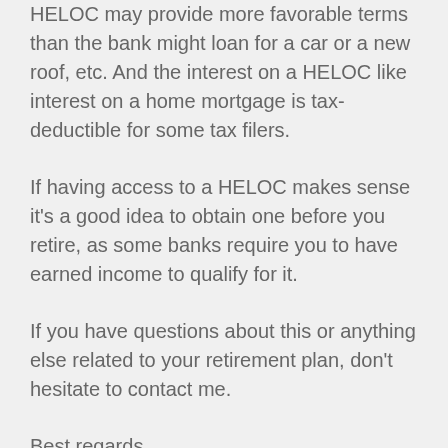HELOC may provide more favorable terms than the bank might loan for a car or a new roof, etc. And the interest on a HELOC like interest on a home mortgage is tax-deductible for some tax filers.
If having access to a HELOC makes sense it's a good idea to obtain one before you retire, as some banks require you to have earned income to qualify for it.
If you have questions about this or anything else related to your retirement plan, don't hesitate to contact me.
Best regards.
Jeff Christian CFP, CRPC
Some people have greatness thrust upon